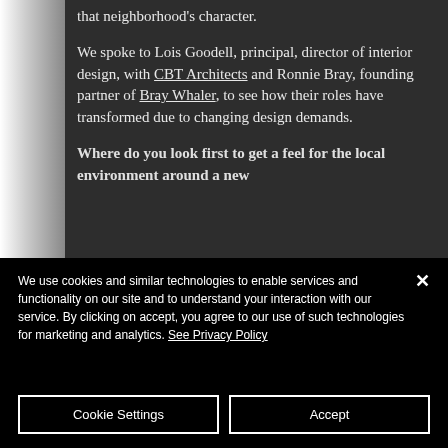that neighborhood's character.

We spoke to Lois Goodell, principal, director of interior design, with CBT Architects and Ronnie Bray, founding partner of Bray Whaler, to see how their roles have transformed due to changing design demands.
Where do you look first to get a feel for the local environment around a new
We use cookies and similar technologies to enable services and functionality on our site and to understand your interaction with our service. By clicking on accept, you agree to our use of such technologies for marketing and analytics. See Privacy Policy